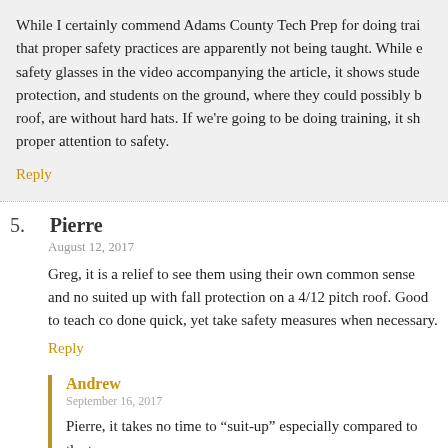While I certainly commend Adams County Tech Prep for doing training, that proper safety practices are apparently not being taught. While e safety glasses in the video accompanying the article, it shows stude protection, and students on the ground, where they could possibly b roof, are without hard hats. If we're going to be doing training, it sh proper attention to safety.
Reply
5. Pierre
August 12, 2017
Greg, it is a relief to see them using their own common sense and n suited up with fall protection on a 4/12 pitch roof. Good to teach co done quick, yet take safety measures when necessary.
Reply
Andrew
September 16, 2017
Pierre, it takes no time to “suit-up” especially compared to the t